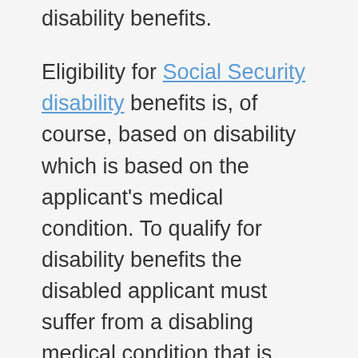disability benefits.
Eligibility for Social Security disability benefits is, of course, based on disability which is based on the applicant's medical condition. To qualify for disability benefits the disabled applicant must suffer from a disabling medical condition that is severe enough it prevents them from working. The medical condition must also be expected to last for 12 months or result in death. The Social Security Administration maintains a list of medical conditions but disabled individuals can also demonstrate that they suffer from one not on the list.
In addition, to be eligible for Social Security